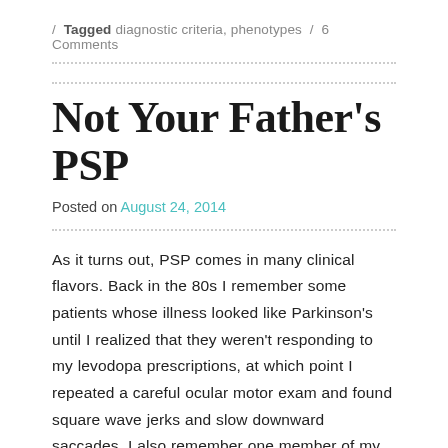/ Tagged diagnostic criteria, phenotypes / 6 Comments
Not Your Father's PSP
Posted on August 24, 2014
As it turns out, PSP comes in many clinical flavors. Back in the 80s I remember some patients whose illness looked like Parkinson's until I realized that they weren't responding to my levodopa prescriptions, at which point I repeated a careful ocular motor exam and found square wave jerks and slow downward saccades. I also remember one member of my first series of 41 patients with PSP from 1988 with severe gait apraxia and freezing as his